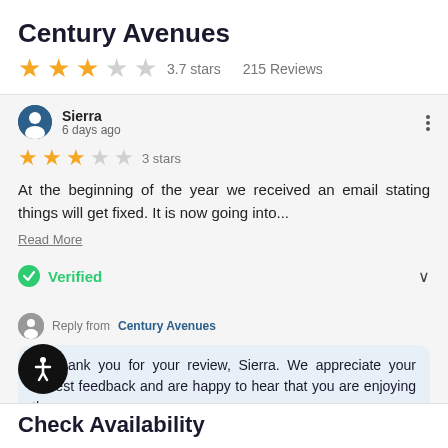Century Avenues
3.7 stars   215 Reviews
Sierra
6 days ago
3 stars
At the beginning of the year we received an email stating things will get fixed. It is now going into...
Read More
Verified
Reply from Century Avenues
ank you for your review, Sierra. We appreciate your honest feedback and are happy to hear that you are enjoying the
Check Availability